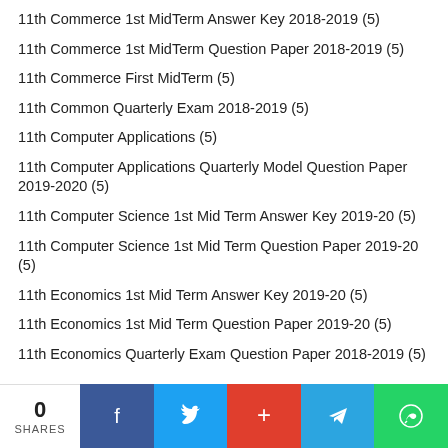11th Commerce 1st MidTerm Answer Key 2018-2019 (5)
11th Commerce 1st MidTerm Question Paper 2018-2019 (5)
11th Commerce First MidTerm (5)
11th Common Quarterly Exam 2018-2019 (5)
11th Computer Applications (5)
11th Computer Applications Quarterly Model Question Paper 2019-2020 (5)
11th Computer Science 1st Mid Term Answer Key 2019-20 (5)
11th Computer Science 1st Mid Term Question Paper 2019-20 (5)
11th Economics 1st Mid Term Answer Key 2019-20 (5)
11th Economics 1st Mid Term Question Paper 2019-20 (5)
11th Economics Quarterly Exam Question Paper 2018-2019 (5)
0 SHARES | Facebook | Twitter | Google+ | Telegram | WhatsApp